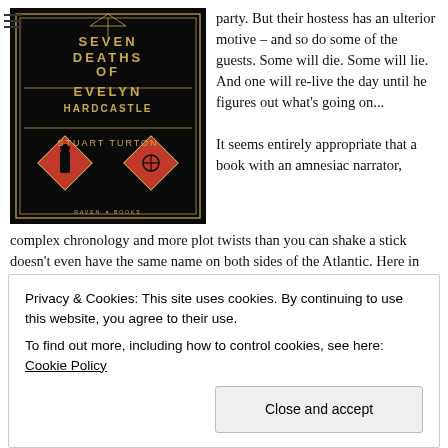[Figure (illustration): Book cover of 'The Seven Deaths of Evelyn Hardcastle' by Stuart Turton. Black background with gold geometric art deco design, title in gold text, author name in gold, publisher Raven Books at bottom. Two red diamond shapes with silhouettes on lower left and right.]
party. But their hostess has an ulterior motive – and so do some of the guests. Some will die. Some will lie. And one will re-live the day until he figures out what's going on...
It seems entirely appropriate that a book with an amnesiac narrator, complex chronology and more plot twists than you can shake a stick doesn't even have the same name on both sides of the Atlantic. Here in the UK, the title has Evelyn
Privacy & Cookies: This site uses cookies. By continuing to use this website, you agree to their use.
To find out more, including how to control cookies, see here: Cookie Policy
Close and accept